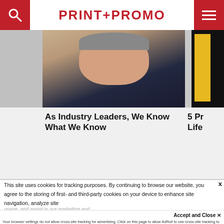PRINT+PROMO
[Figure (photo): Cropped photo of a man in a suit smiling, partial view from chin up, wearing a blue shirt and dark jacket. A second image strip partially visible on right side showing yellow and black vertical bar.]
As Industry Leaders, We Know What We Know
5 Pr Life
This site uses cookies for tracking purposes. By continuing to browse our website, you agree to the storing of first- and third-party cookies on your device to enhance site navigation, analyze site usage, and assist in our marketing and
Accept and Close ✕
Your browser settings do not allow cross-site tracking for advertising. Click on this page to allow AdRoll to use cross-site tracking to tailor ads to you. Learn more or opt out of this AdRoll tracking by clicking here. This message only appears once.